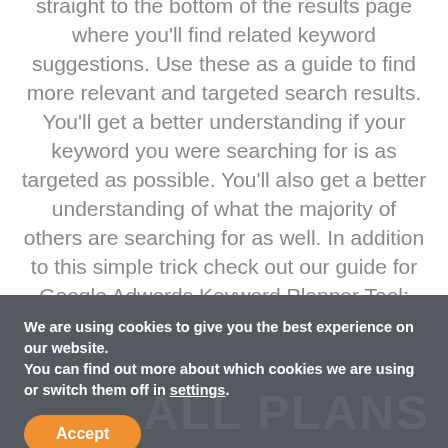When googling for a given keyword, jump straight to the bottom of the results page where you'll find related keyword suggestions. Use these as a guide to find more relevant and targeted search results. You'll get a better understanding if your keyword you were searching for is as targeted as possible. You'll also get a better understanding of what the majority of others are searching for as well. In addition to this simple trick check out our guide for Google Adwords Keyword Planner Tool: Click Here!
We are using cookies to give you the best experience on our website.
You can find out more about which cookies we are using or switch them off in settings.
Accept